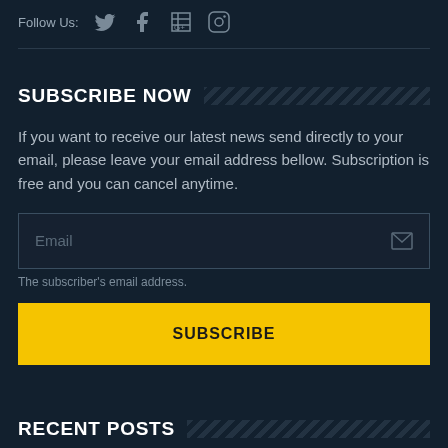Follow Us:  🐦  f  G+  📷
SUBSCRIBE NOW
If you want to receive our latest news send directly to your email, please leave your email address bellow. Subscription is free and you can cancel anytime.
Email
The subscriber's email address.
SUBSCRIBE
RECENT POSTS